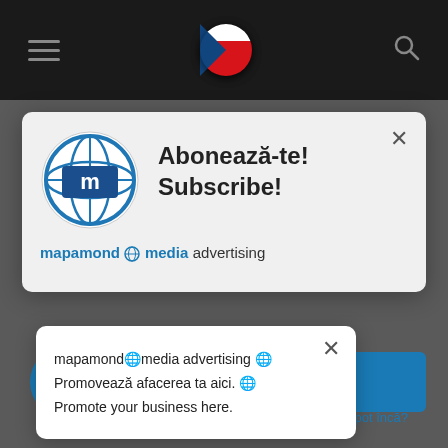[Figure (screenshot): Dark top navigation bar with hamburger menu icon on left, Czech flag circle in center, and search icon on right]
Abonează-te! Subscribe!
mapamond media advertising
end
pot încă?
mapamond media advertising
Promovează afacerea ta aici.
Promote your business here.
[Figure (logo): Blue chat bubble icon on circular blue button at bottom left]